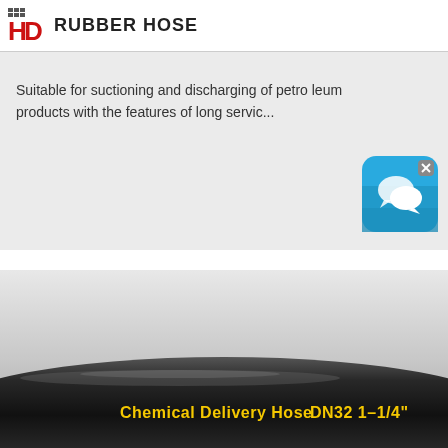HD RUBBER HOSE
Suitable for suctioning and discharging of petroleum products with the features of long servic...
[Figure (screenshot): Chat/messenger app icon with blue background and white speech bubbles, with an X close button in top-right corner]
[Figure (photo): Close-up photo of a black rubber hose with yellow text reading 'Chemical Delivery Hose' and 'DN32 1-1/4"' on its surface]